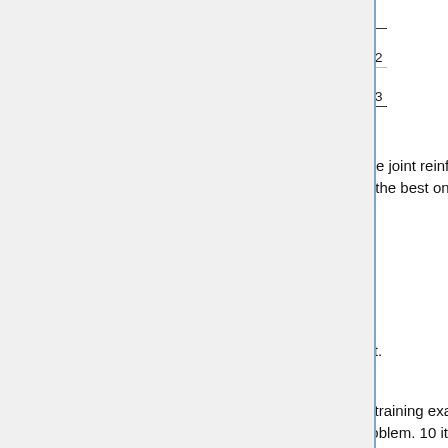Table 6: 20 iterations of rlCoP with po
| Iteration | 1 | 2 | 3 | 4 | 5 | 11 | 12 | 13 | 14 | 15 |
| --- | --- | --- | --- | --- | --- | --- | --- | --- | --- | --- |
| Proved | 1037 | 1110 | 1166 | 1179 | 1182 | 1206 | 1217 | 1204 | 1219 | 1223 |
Besides, they also evaluated the effect of the joint reinforcement learning of both policy and value. Replacing final policy and value with the best one from policy-only or value-only both decreased performance.
Evaluation on the Whole Miz40 Dataset.
The authors split Mizar40 dataset into 90% training examples and 10% testing examples. 200,000 inferences are allowed for each problem. 10 iterations of policy and value learning are performed (based on MCT). The training and testing results are shown as follows.